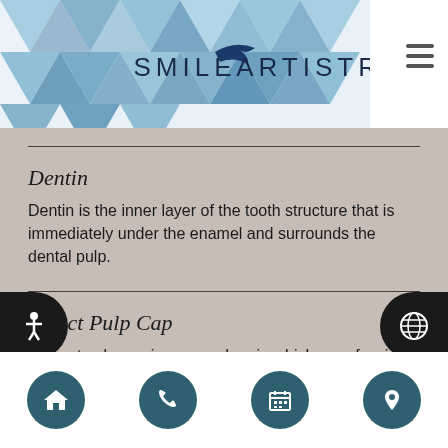SMILE ARTISTRY
Dentin
Dentin is the inner layer of the tooth structure that is immediately under the enamel and surrounds the dental pulp.
Direct Pulp Cap
A direct pulp cap is a procedure in which a professional treats exposed pulp with a therapeutic material to help the tooth heal.